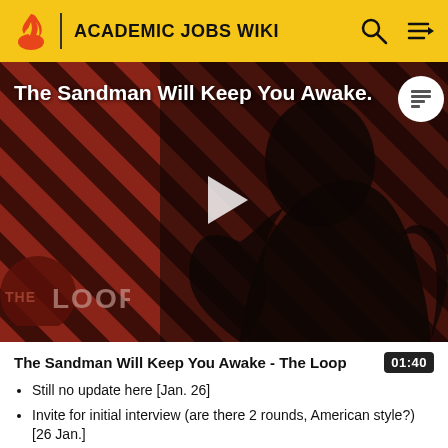ACADEMIC JOBS WIKI
[Figure (screenshot): Video thumbnail for 'The Sandman Will Keep You Awake - The Loop' showing a dark-cloaked figure against a striped red/dark background with THE LOOP logo overlay and a play button in the center]
The Sandman Will Keep You Awake - The Loop
01:40
Still no update here [Jan. 26]
Invite for initial interview (are there 2 rounds, American style?) [26 Jan.]
Offer made